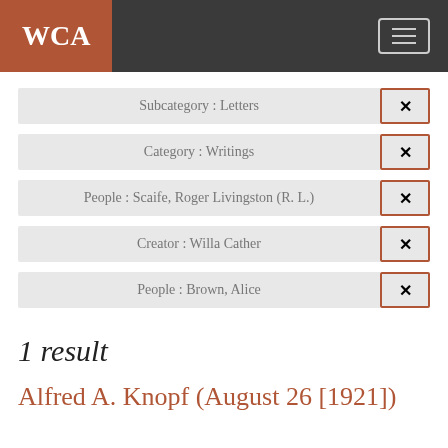WCA
Subcategory : Letters ×
Category : Writings ×
People : Scaife, Roger Livingston (R. L.) ×
Creator : Willa Cather ×
People : Brown, Alice ×
1 result
Alfred A. Knopf (August 26 [1921])